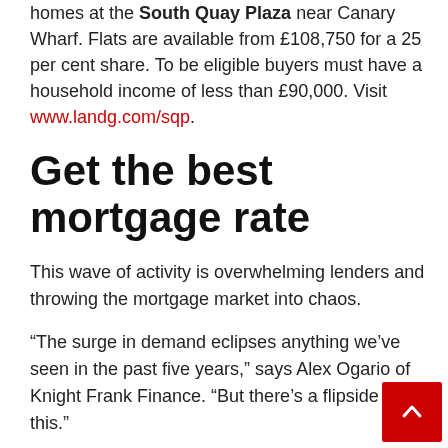Legal & General has 70 shared ownership homes at the South Quay Plaza near Canary Wharf. Flats are available from £108,750 for a 25 per cent share. To be eligible buyers must have a household income of less than £90,000. Visit www.landg.com/sqp.
Get the best mortgage rate
This wave of activity is overwhelming lenders and throwing the mortgage market into chaos.
“The surge in demand eclipses anything we’ve seen in the past five years,” says Alex Ogario of Knight Frank Finance. “But there’s a flipside to this.”